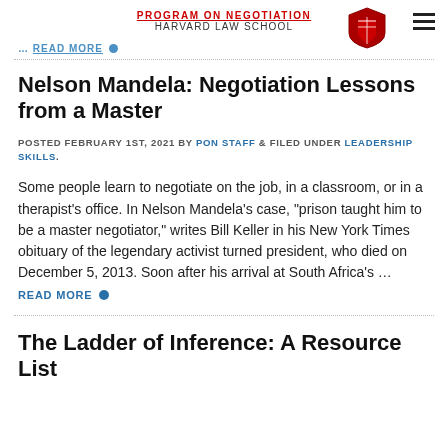PROGRAM ON NEGOTIATION HARVARD LAW SCHOOL
... READ MORE
Nelson Mandela: Negotiation Lessons from a Master
POSTED FEBRUARY 1ST, 2021 BY PON STAFF & FILED UNDER LEADERSHIP SKILLS.
Some people learn to negotiate on the job, in a classroom, or in a therapist's office. In Nelson Mandela's case, “prison taught him to be a master negotiator,” writes Bill Keller in his New York Times obituary of the legendary activist turned president, who died on December 5, 2013. Soon after his arrival at South Africa’s ... READ MORE
The Ladder of Inference: A Resource List